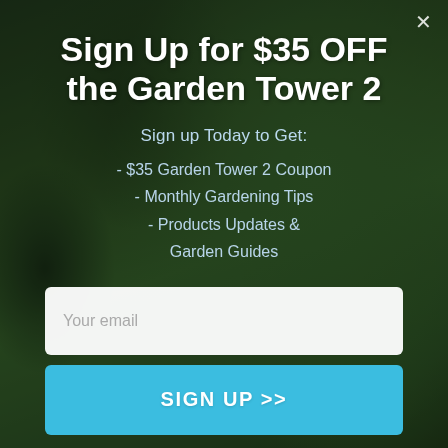[Figure (photo): Blurred background photo of green plants and garden setting with dark overlay]
Sign Up for $35 OFF the Garden Tower 2
Sign up Today to Get:
- $35 Garden Tower 2 Coupon
- Monthly Gardening Tips
- Products Updates & Garden Guides
Your email
SIGN UP >>